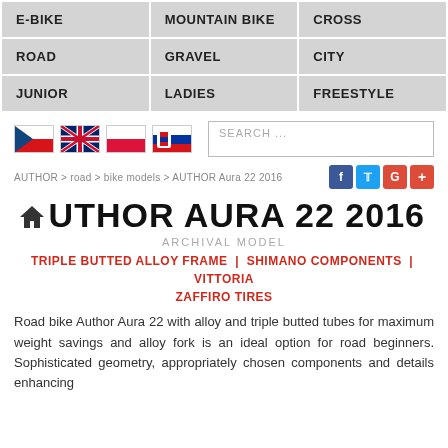| E-BIKE | MOUNTAIN BIKE | CROSS |
| --- | --- | --- |
| ROAD | GRAVEL | CITY |
| JUNIOR | LADIES | FREESTYLE |
[Figure (other): Language flags (Czech, UK, Polish, Slovak) and a search box]
AUTHOR > road > bike models > AUTHOR Aura 22 2016
AUTHOR AURA 22 2016
ARCHIVAL MODEL
TRIPLE BUTTED ALLOY FRAME | SHIMANO COMPONENTS | VITTORIA ZAFFIRO TIRES
Road bike Author Aura 22 with alloy and triple butted tubes for maximum weight savings and alloy fork is an ideal option for road beginners. Sophisticated geometry, appropriately chosen components and details enhancing